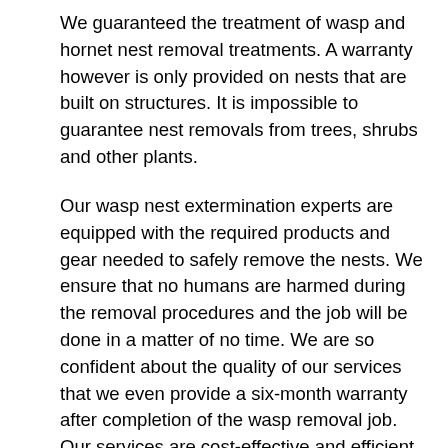We guaranteed the treatment of wasp and hornet nest removal treatments. A warranty however is only provided on nests that are built on structures. It is impossible to guarantee nest removals from trees, shrubs and other plants.
Our wasp nest extermination experts are equipped with the required products and gear needed to safely remove the nests. We ensure that no humans are harmed during the removal procedures and the job will be done in a matter of no time. We are so confident about the quality of our services that we even provide a six-month warranty after completion of the wasp removal job. Our services are cost-effective and efficient in the removal and control of wasps and years of experience in the business allow us to offer you some of the most reliable and comprehensive solutions.